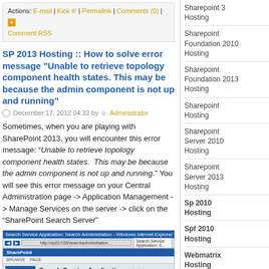Actions: E-mail | Kick it! | Permalink | Comments (0) | Comment RSS
SP 2013 Hosting :: How to solve error message "Unable to retrieve topology component health states. This may be because the admin component is not up and running"
December 17, 2012 04:32 by Administrator
Sometimes, when you are playing with SharePoint 2013, you will encounter this error message: “Unable to retrieve topology component health states.  This may be because the admin component is not up and running.” You will see this error message on your Central Administration page -> Application Management -> Manage Services on the server -> click on the “SharePoint Search Server”
[Figure (screenshot): Screenshot of SharePoint Search Service Application Search Administration page in Windows Internet Explorer]
Sharepoint 3 Hosting
Sharepoint Foundation 2010 Hosting
Sharepoint Foundation 2013 Hosting
Sharepoint Hosting
Sharepoint Server 2010 Hosting
Sharepoint Server 2013 Hosting
Sp 2010 Hosting
Spf 2010 Hosting
Webmatrix Hosting
Wss 2010 Hosting
Wss 3 Hosting